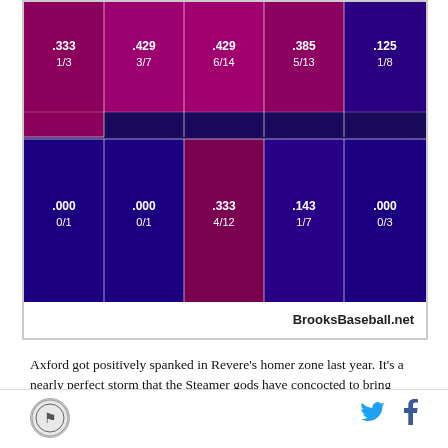[Figure (table-as-image): Baseball spray chart grid showing batting average and hit counts in different zones. Top row: .333 1/3, .429 3/7, .429 6/14, .385 5/13, .125 1/8. Bottom row: .000 0/1, .000 0/1, .333 4/12, .143 1/7, .000 0/3. Zones colored in shades of purple/blue/magenta indicating batting average. Watermark: BrooksBaseball.net]
Axford got positively spanked in Revere's homer zone last year. It's a nearly perfect storm that the Steamer gods have concocted to bring about Revere's second homer, which he claims on an 0-1 hanging curve. Axford's curveball was his worst pitch last year at -3.7 runs below average, according to FanGraphs' Pitch F/X run values. Ben Revere's quest is nearly complete.